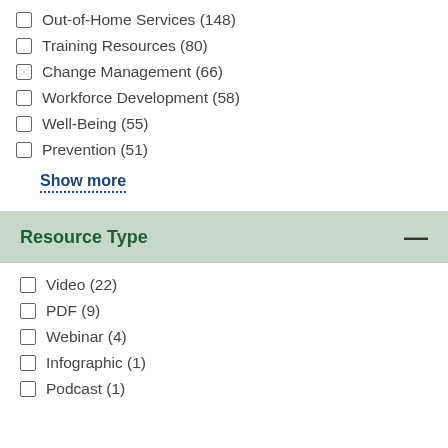Out-of-Home Services (148)
Training Resources (80)
Change Management (66)
Workforce Development (58)
Well-Being (55)
Prevention (51)
Show more
Resource Type
Video (22)
PDF (9)
Webinar (4)
Infographic (1)
Podcast (1)